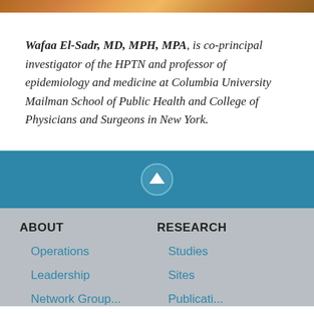[Figure (photo): Partial cropped photo strip at top of page showing a person]
Wafaa El-Sadr, MD, MPH, MPA, is co-principal investigator of the HPTN and professor of epidemiology and medicine at Columbia University Mailman School of Public Health and College of Physicians and Surgeons in New York.
[Figure (other): Blue bar with upward arrow circle icon for back-to-top navigation]
ABOUT
RESEARCH
Operations
Studies
Leadership
Sites
Network Group... (partial)
Publications... (partial)